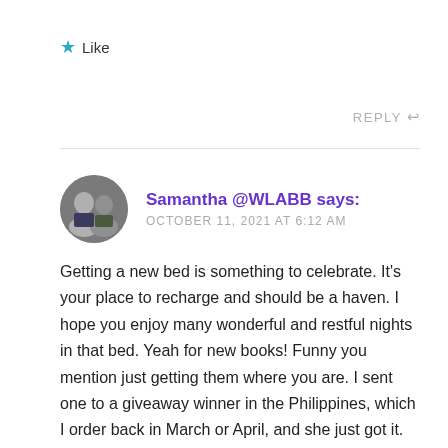★ Like
REPLY ↩
Samantha @WLABB says:
OCTOBER 11, 2021 AT 6:12 AM
Getting a new bed is something to celebrate. It's your place to recharge and should be a haven. I hope you enjoy many wonderful and restful nights in that bed. Yeah for new books! Funny you mention just getting them where you are. I sent one to a giveaway winner in the Philippines, which I order back in March or April, and she just got it. Crazy! Another blogger I followed talked about The Body Project, and I subscribed to that. I like their workouts a lot because they have